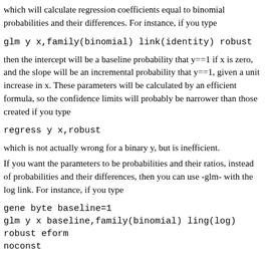which will calculate regression coefficients equal to binomial probabilities and their differences. For instance, if you type
glm y x,family(binomial) link(identity) robust
then the intercept will be a baseline probability that y==1 if x is zero, and the slope will be an incremental probability that y==1, given a unit increase in x. These parameters will be calculated by an efficient formula, so the confidence limits will probably be narrower than those created if you type
regress y x,robust
which is not actually wrong for a binary y, but is inefficient.
If you want the parameters to be probabilities and their ratios, instead of probabilities and their differences, then you can use -glm- with the log link. For instance, if you type
gene byte baseline=1
glm y x baseline,family(binomial) ling(log) robust eform
noconst